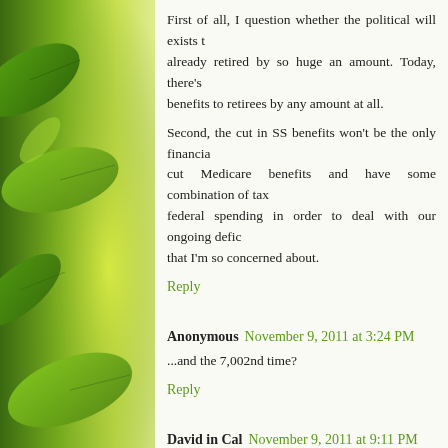[Figure (photo): Green leaves sidebar on left side of page, blurred background with bright green and yellow-green tones]
First of all, I question whether the political will exists to already retired by so huge an amount. Today, there's benefits to retirees by any amount at all.
Second, the cut in SS benefits won't be the only financial cut Medicare benefits and have some combination of tax federal spending in order to deal with our ongoing defic that I'm so concerned about.
Reply
Anonymous  November 9, 2011 at 3:24 PM
...and the 7,002nd time?
Reply
David in Cal  November 9, 2011 at 9:11 PM
Tom, you're technically incorrect about the impact of th baby boomers were working, there was a bulge in SS in baby boomers retire, they'll be supported by their proge think baby boomers have more progeny than the generati